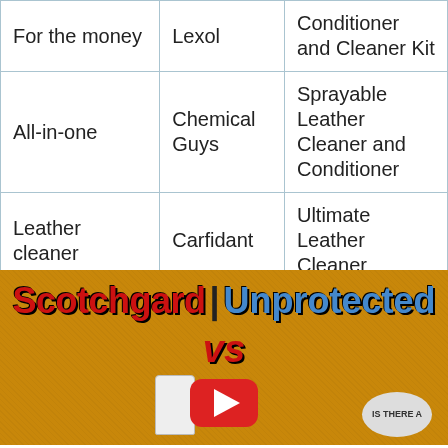| For the money | Lexol | Conditioner and Cleaner Kit |
| All-in-one | Chemical Guys | Sprayable Leather Cleaner and Conditioner |
| Leather cleaner | Carfidant | Ultimate Leather Cleaner |
[Figure (screenshot): YouTube video thumbnail showing 'Scotchgard | Unprotected vs' title text in red and blue on an orange leather background, with a YouTube play button and product bottles visible]